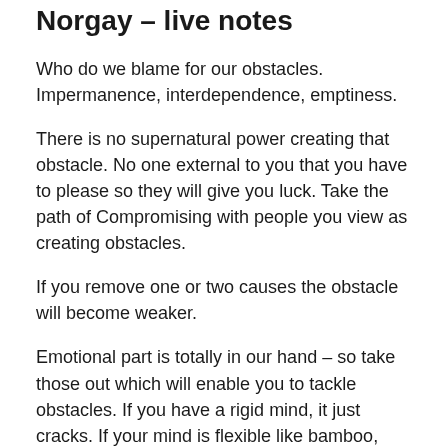Norgay – live notes
Who do we blame for our obstacles. Impermanence, interdependence, emptiness.
There is no supernatural power creating that obstacle. No one external to you that you have to please so they will give you luck. Take the path of Compromising with people you view as creating obstacles.
If you remove one or two causes the obstacle will become weaker.
Emotional part is totally in our hand – so take those out which will enable you to tackle obstacles. If you have a rigid mind, it just cracks. If your mind is flexible like bamboo, you can take that shock.
How to clear is you have to do your job not to make it an